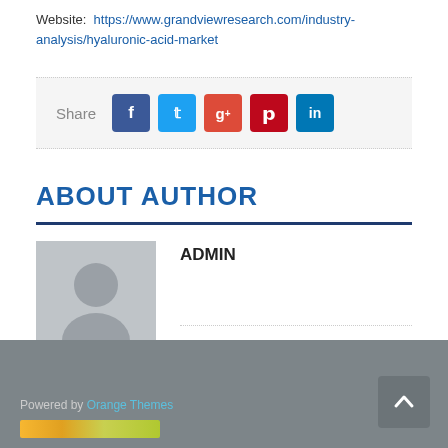Website:  https://www.grandviewresearch.com/industry-analysis/hyaluronic-acid-market
[Figure (infographic): Social share bar with Share label and icons for Facebook (blue), Twitter (cyan), Google+ (red), Pinterest (red), LinkedIn (blue)]
ABOUT AUTHOR
[Figure (photo): Author avatar placeholder — grey silhouette icon on grey background]
ADMIN
Powered by Orange Themes